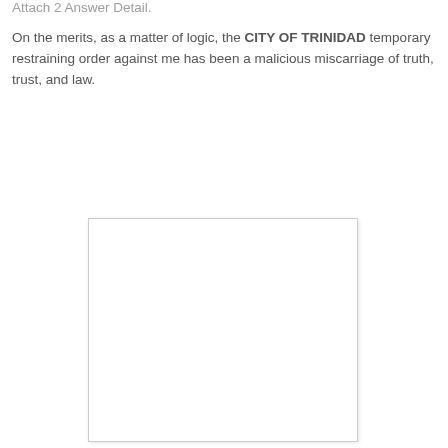Attach 2 Answer Detail.
On the merits, as a matter of logic, the CITY OF TRINIDAD temporary restraining order against me has been a malicious miscarriage of truth, trust, and law.
[Figure (other): Embedded blank white document page with light border and shadow, representing an attached exhibit or scanned document.]